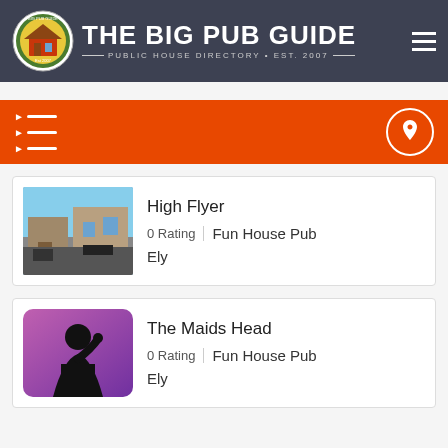THE BIG PUB GUIDE — PUBLIC HOUSE DIRECTORY • EST. 2007
[Figure (infographic): Orange filter bar with slider filter icon on left and location pin button on right]
High Flyer
0 Rating | Fun House Pub
Ely
The Maids Head
0 Rating | Fun House Pub
Ely